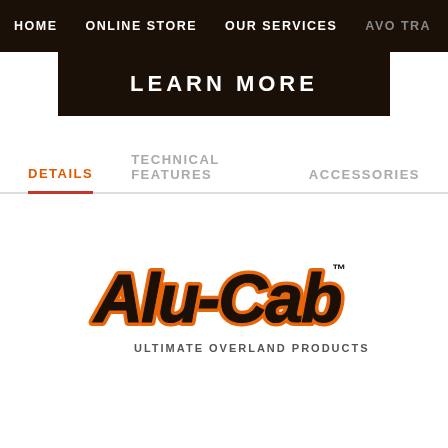HOME | ONLINE STORE | OUR SERVICES | AVO TRA...
LEARN MORE
DETAILS | TECHNICAL FEATURES | ACCESSORIES
[Figure (logo): Alu-Cab logo with orange and black script lettering and tagline ULTIMATE OVERLAND PRODUCTS]